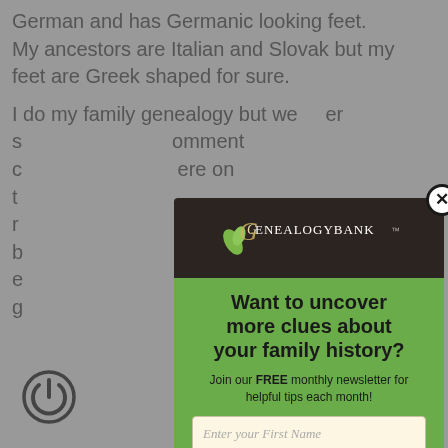German and has Germanic looking feet. My ancestors are Italian and Slovak but my feet are Greek shaped for sure.
I do my family genealogy but we... er s... omment c... ere on t... r... l... larger b... hat e... ood. I'm g... be me.
[Figure (screenshot): GenealogyBank modal popup with dark header containing GenealogyBank logo, green body with headline 'Want to uncover more clues about your family history?', subtext 'Join our FREE monthly newsletter for helpful tips each month!', two input fields for First Name and Email Address, privacy note, and a close (X) button in top right corner.]
You can unsubscribe at any time. We value your privacy.